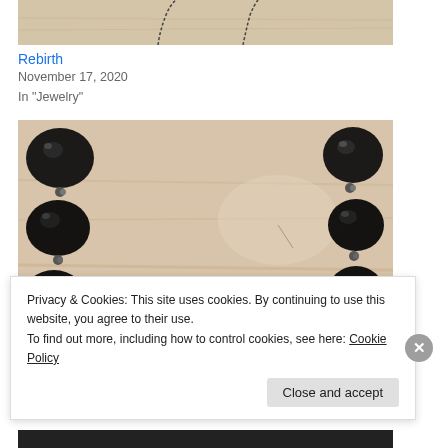[Figure (photo): Top portion of a necklace with chain on a light wooden/beige background]
Rebirth
November 17, 2020
In "Jewelry"
[Figure (photo): Black gemstone necklace with large faceted teardrop and round black stones connected by small metallic beads, laid flat on a light wooden surface]
Privacy & Cookies: This site uses cookies. By continuing to use this website, you agree to their use.
To find out more, including how to control cookies, see here: Cookie Policy
Close and accept